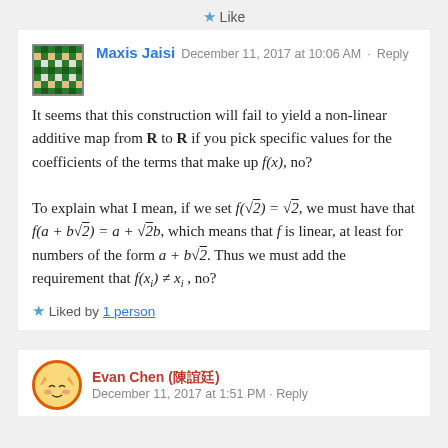Like
Maxis Jaisi   December 11, 2017 at 10:06 AM · Reply
It seems that this construction will fail to yield a non-linear additive map from R to R if you pick specific values for the coefficients of the terms that make up f(x), no?

To explain what I mean, if we set f(√2) = √2, we must have that f(a + b√2) = a + √2b, which means that f is linear, at least for numbers of the form a + b√2. Thus we must add the requirement that f(x_i) ≠ x_i , no?
Liked by 1 person
Evan Chen (陳誼廷)
December 11, 2017 at 1:51 PM · Reply